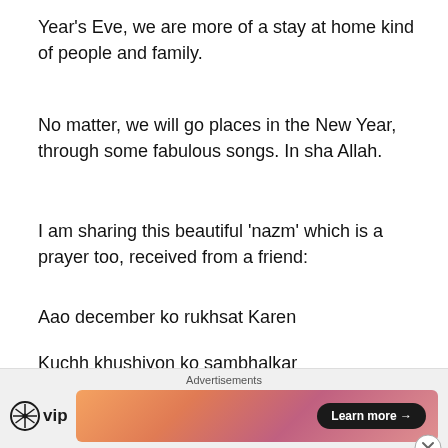Year's Eve, we are more of a stay at home kind of people and family.
No matter, we will go places in the New Year, through some fabulous songs. In sha Allah.
I am sharing this beautiful 'nazm' which is a prayer too, received from a friend:
Aao december ko rukhsat Karen
Kuchh khushiyon ko sambhalkar
Kuchh aansuon ko taalkar
Jo lamhe guzre chaahton mein
Jo pal beete rafaaqaton mein
[Figure (other): Advertisement bar at the bottom with WordPress VIP logo and a colorful banner with 'Learn more' button and a close (X) button]